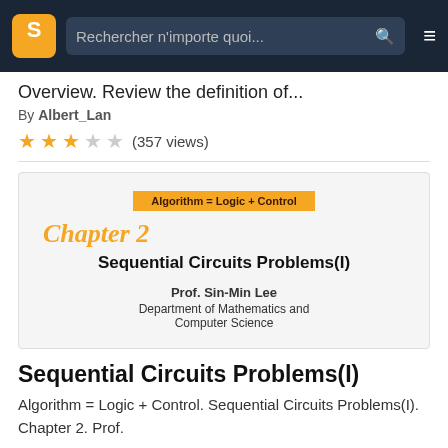Rechercher n'importe quoi...
Overview. Review the definition of...
By Albert_Lan
(357 views)
[Figure (screenshot): Slide preview showing: orange banner 'Algorithm = Logic + Control', orange italic 'Chapter 2' heading, bold text 'Sequential Circuits Problems(I)', Prof. Sin-Min Lee, Department of Mathematics and Computer Science]
Sequential Circuits Problems(I)
Algorithm = Logic + Control. Sequential Circuits Problems(I). Chapter 2. Prof.